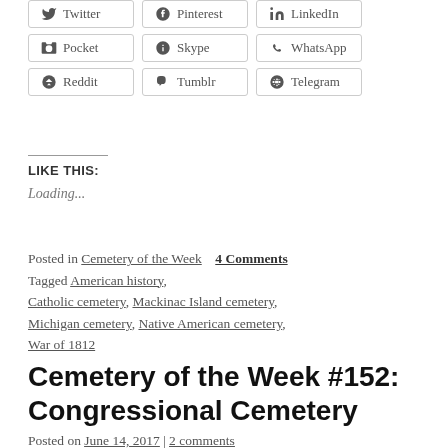Twitter  Pinterest  LinkedIn
Pocket  Skype  WhatsApp
Reddit  Tumblr  Telegram
LIKE THIS:
Loading...
Posted in Cemetery of the Week    4 Comments
Tagged American history, Catholic cemetery, Mackinac Island cemetery, Michigan cemetery, Native American cemetery, War of 1812
Cemetery of the Week #152: Congressional Cemetery
Posted on June 14, 2017 | 2 comments